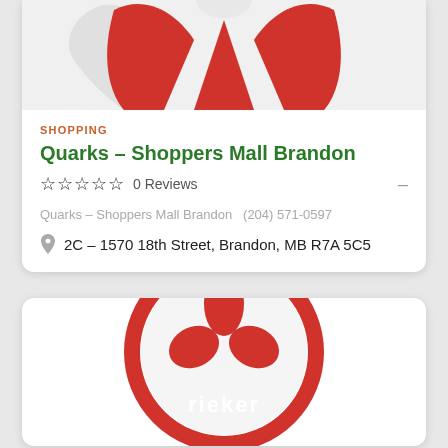[Figure (logo): Partial view of a red logo (possibly a clothing/shoe brand) on light grey background, cropped at top]
SHOPPING
Quarks – Shoppers Mall Brandon
☆☆☆☆☆  0 Reviews  –
Quarks – Shoppers Mall Brandon  (204) 571-0597
2C – 1570 18th Street, Brandon, MB R7A 5C5
[Figure (logo): Rieker shoe brand logo – a red circle with a red fleur-de-lis style flower inside, and 'rieker' text at the bottom, partially cropped]